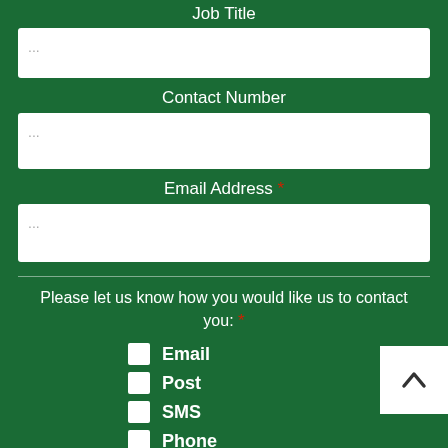Job Title
...
Contact Number
...
Email Address *
...
Please let us know how you would like us to contact you: *
Email
Post
SMS
Phone